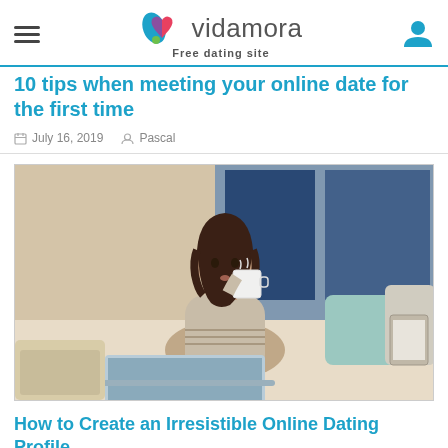vidamora — Free dating site
10 tips when meeting your online date for the first time
July 16, 2019   Pascal
[Figure (photo): A young woman sitting on a bed, holding a white coffee mug and looking at a laptop screen]
How to Create an Irresistible Online Dating Profile